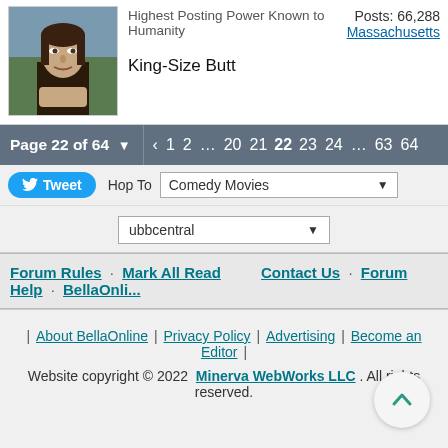[Figure (illustration): Avatar image - Mona Lisa painting thumbnail]
Highest Posting Power Known to Humanity
Posts: 66,288
Massachusetts
King-Size Butt
Page 22 of 64 ▾  ‹  1  2  …  20  21  22  23  24  …  63  64
🐦 Tweet    Hop To   Comedy Movies ▾
ubbcentral ▾
Forum Rules · Mark All Read      Contact Us · Forum Help · BellaOnli...
| About BellaOnline | Privacy Policy | Advertising | Become an Editor |
Website copyright © 2022  Minerva WebWorks LLC . All rights reserved.